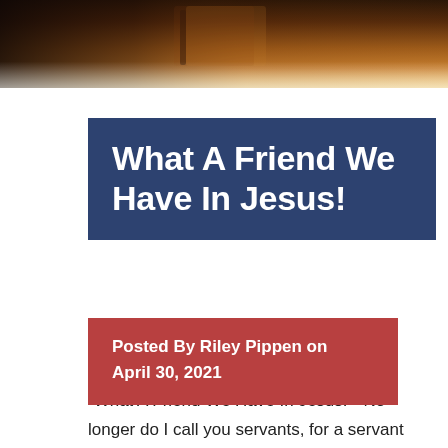[Figure (photo): Photograph of an open book/Bible on a warm amber-toned background, used as a decorative banner at the top of the page.]
What A Friend We Have In Jesus!
Posted By Riley Pippen on April 30, 2021
“What A Friend We Have In Jesus!” “No longer do I call you servants, for a servant does not know what his master